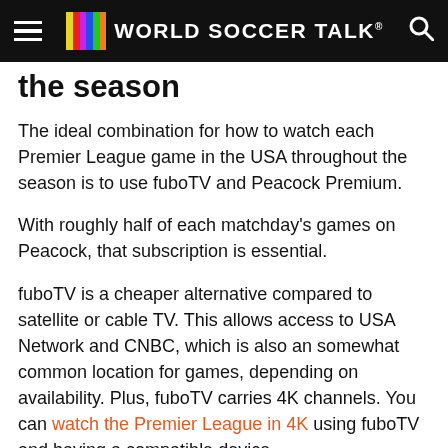World Soccer Talk
the season
The ideal combination for how to watch each Premier League game in the USA throughout the season is to use fuboTV and Peacock Premium.
With roughly half of each matchday's games on Peacock, that subscription is essential.
fuboTV is a cheaper alternative compared to satellite or cable TV. This allows access to USA Network and CNBC, which is also an somewhat common location for games, depending on availability. Plus, fuboTV carries 4K channels. You can watch the Premier League in 4K using fuboTV and having a compatible device.